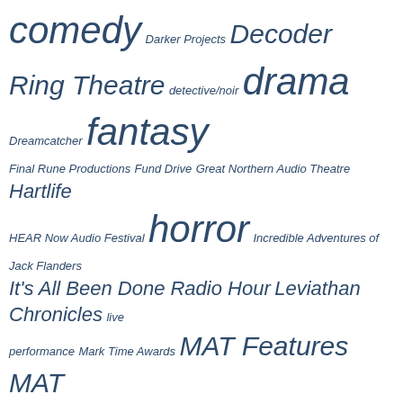[Figure (infographic): Tag cloud of audio drama genres and production companies, rendered in varying font sizes in dark blue italic text on white background. Larger text indicates more frequent/prominent tags. Tags include: comedy, Darker Projects, Decoder Ring Theatre, detective/noir, drama, Dreamcatcher, fantasy, Final Rune Productions, Fund Drive, Great Northern Audio Theatre, Hartlife, HEAR Now Audio Festival, horror, Incredible Adventures of Jack Flanders, It's All Been Done Radio Hour, Leviathan Chronicles, live performance, Mark Time Awards, MAT Features, MAT Scriptwriting Competition, Merodi Media, Misfits Audio Productions, mystery, noir, Our Fair City, Outcast Multimedia, post-apocalyptic, science fiction, Scriptwriting Competition, supernatural, suspense, Two-Minute Danger Theater, Voices in the Wind Audio Theatre, WCBE 90.5 FM-HD Columbus, ZBS Foundation.]